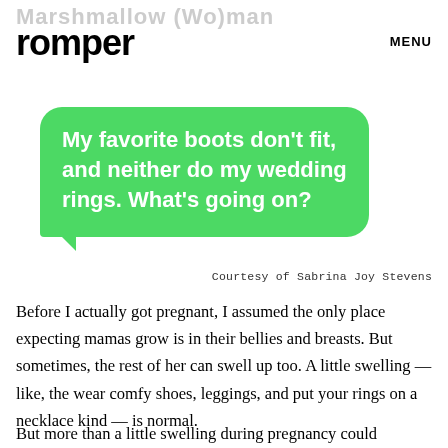romper  MENU
[Figure (screenshot): Green iMessage speech bubble with white bold text reading: My favorite boots don't fit, and neither do my wedding rings. What's going on?]
Courtesy of Sabrina Joy Stevens
Before I actually got pregnant, I assumed the only place expecting mamas grow is in their bellies and breasts. But sometimes, the rest of her can swell up too. A little swelling — like, the wear comfy shoes, leggings, and put your rings on a necklace kind — is normal.
But more than a little swelling during pregnancy could